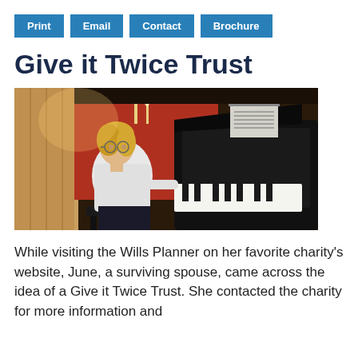Print | Email | Contact | Brochure
Give it Twice Trust
[Figure (photo): A woman with blonde hair and glasses sitting at a grand piano in a studio, playing music from a sheet on the piano stand. The background has a red wall and warm lighting.]
While visiting the Wills Planner on her favorite charity's website, June, a surviving spouse, came across the idea of a Give it Twice Trust. She contacted the charity for more information and